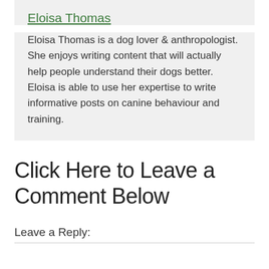Eloisa Thomas
Eloisa Thomas is a dog lover & anthropologist. She enjoys writing content that will actually help people understand their dogs better. Eloisa is able to use her expertise to write informative posts on canine behaviour and training.
Click Here to Leave a Comment Below
Leave a Reply: